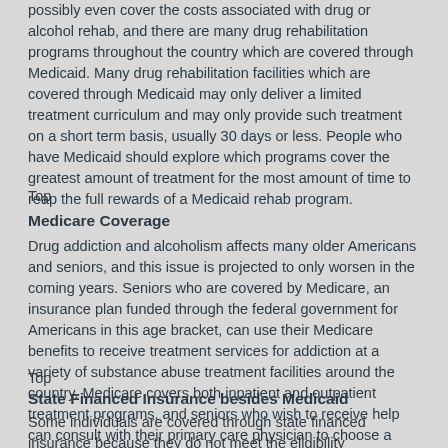possibly even cover the costs associated with drug or alcohol rehab, and there are many drug rehabilitation programs throughout the country which are covered through Medicaid. Many drug rehabilitation facilities which are covered through Medicaid may only deliver a limited treatment curriculum and may only provide such treatment on a short term basis, usually 30 days or less. People who have Medicaid should explore which programs cover the greatest amount of treatment for the most amount of time to reap the full rewards of a Medicaid rehab program.
Top
Medicare Coverage
Drug addiction and alcoholism affects many older Americans and seniors, and this issue is projected to only worsen in the coming years. Seniors who are covered by Medicare, an insurance plan funded through the federal government for Americans in this age bracket, can use their Medicare benefits to receive treatment services for addiction at a variety of substance abuse treatment facilities around the country. Medicare covers both inpatient and outpatient treatment programs, and seniors who wish to receive help can consult with their primary care physician to choose a treatment program covered by Medicare which would be suitable for them.
Top
State Financed Insurance besides Medicaid
Some individuals are covered through state financed insurance because they do not meet the eligibility requirements for Medicaid. Some states however offer affordable health insurance to those individuals who